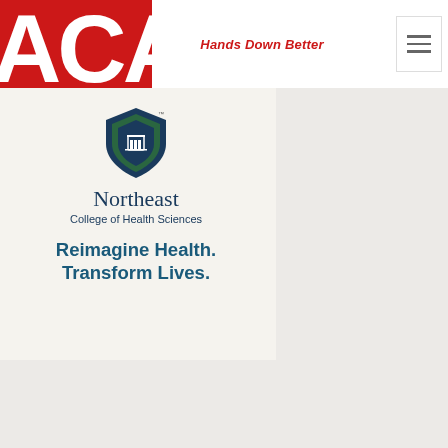[Figure (logo): ACA logo - large red block with white letters ACA and red triangle]
Hands Down Better
[Figure (logo): Northeast College of Health Sciences shield logo with TM mark, dark blue and green shield emblem]
Northeast College of Health Sciences
Reimagine Health. Transform Lives.